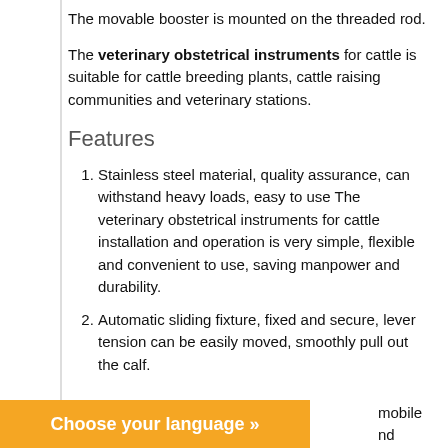The movable booster is mounted on the threaded rod.
The veterinary obstetrical instruments for cattle is suitable for cattle breeding plants, cattle raising communities and veterinary stations.
Features
Stainless steel material, quality assurance, can withstand heavy loads, easy to use The veterinary obstetrical instruments for cattle installation and operation is very simple, flexible and convenient to use, saving manpower and durability.
Automatic sliding fixture, fixed and secure, lever tension can be easily moved, smoothly pull out the calf.
ley for easy mobile nd reasonable design